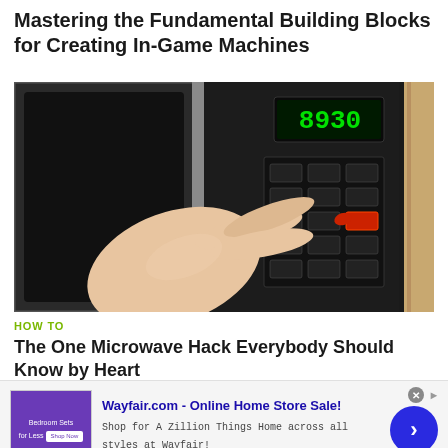Mastering the Fundamental Building Blocks for Creating In-Game Machines
[Figure (photo): Close-up photo of a hand with red nail polish pressing a button on a microwave oven control panel, with a green digital display showing 8930.]
HOW TO
The One Microwave Hack Everybody Should Know by Heart
[Figure (infographic): Advertisement banner for Wayfair.com - Online Home Store Sale! with thumbnail of bedroom furniture, headline text, description, URL, close button, info icon, and a blue arrow button.]